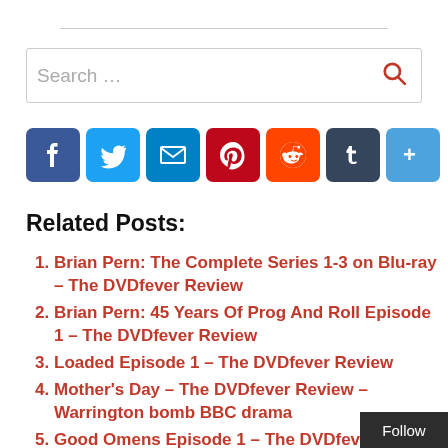[Figure (other): Search bar with placeholder text 'Search ...' and red magnifying glass icon]
[Figure (other): Row of social sharing icons: Facebook, Twitter, Email, Pinterest, Reddit, Tumblr, More]
Related Posts:
Brian Pern: The Complete Series 1-3 on Blu-ray – The DVDfever Review
Brian Pern: 45 Years Of Prog And Roll Episode 1 – The DVDfever Review
Loaded Episode 1 – The DVDfever Review
Mother's Day – The DVDfever Review – Warrington bomb BBC drama
Good Omens Episode 1 – The DVDfever Review – David Tennant, Michael Sheen